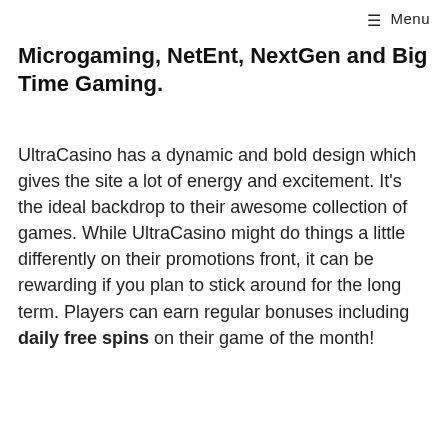≡ Menu
Microgaming, NetEnt, NextGen and Big Time Gaming.
UltraCasino has a dynamic and bold design which gives the site a lot of energy and excitement. It's the ideal backdrop to their awesome collection of games. While UltraCasino might do things a little differently on their promotions front, it can be rewarding if you plan to stick around for the long term. Players can earn regular bonuses including daily free spins on their game of the month!